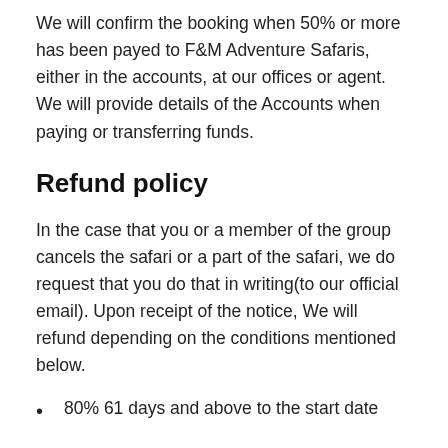We will confirm the booking when 50% or more has been payed to F&M Adventure Safaris, either in the accounts, at our offices or agent. We will provide details of the Accounts when paying or transferring funds.
Refund policy
In the case that you or a member of the group cancels the safari or a part of the safari, we do request that you do that in writing(to our official email). Upon receipt of the notice, We will refund depending on the conditions mentioned below.
80% 61 days and above to the start date